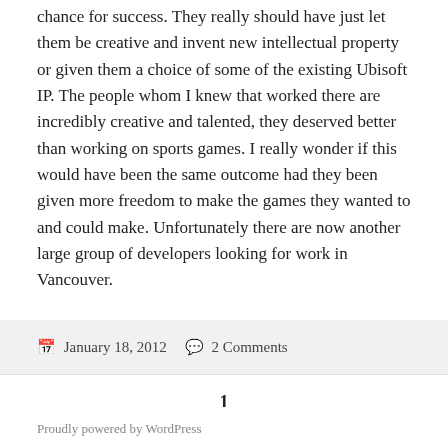chance for success. They really should have just let them be creative and invent new intellectual property or given them a choice of some of the existing Ubisoft IP. The people whom I knew that worked there are incredibly creative and talented, they deserved better than working on sports games. I really wonder if this would have been the same outcome had they been given more freedom to make the games they wanted to and could make. Unfortunately there are now another large group of developers looking for work in Vancouver.
January 18, 2012   2 Comments
1
Proudly powered by WordPress